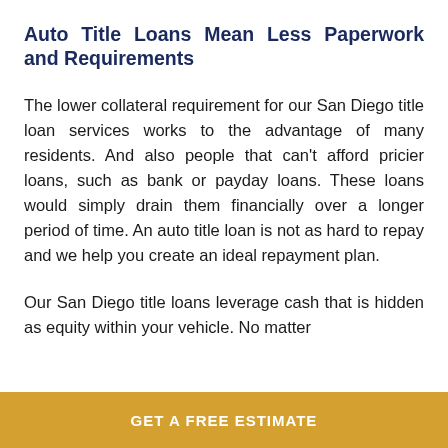Auto Title Loans Mean Less Paperwork and Requirements
The lower collateral requirement for our San Diego title loan services works to the advantage of many residents. And also people that can’t afford pricier loans, such as bank or payday loans. These loans would simply drain them financially over a longer period of time. An auto title loan is not as hard to repay and we help you create an ideal repayment plan.
Our San Diego title loans leverage cash that is hidden as equity within your vehicle. No matter
GET A FREE ESTIMATE